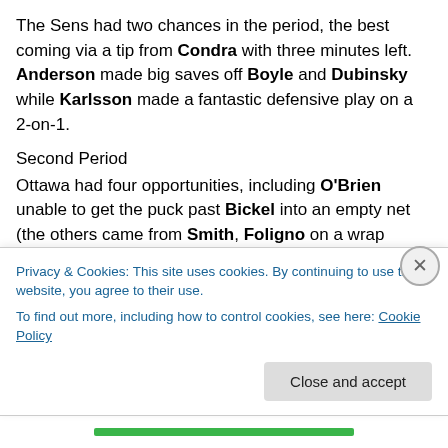The Sens had two chances in the period, the best coming via a tip from Condra with three minutes left.  Anderson made big saves off Boyle and Dubinsky while Karlsson made a fantastic defensive play on a 2-on-1.
Second Period
Ottawa had four opportunities, including O'Brien unable to get the puck past Bickel into an empty net (the others came from Smith, Foligno on a wrap around, and O'Brien again on a tip).  Spezza also had a great chance but choose to pass instead of shoot.  Fedotenko and Dubinsky had the chances for the Rangers, with Spezza
Privacy & Cookies: This site uses cookies. By continuing to use this website, you agree to their use.
To find out more, including how to control cookies, see here: Cookie Policy
Close and accept